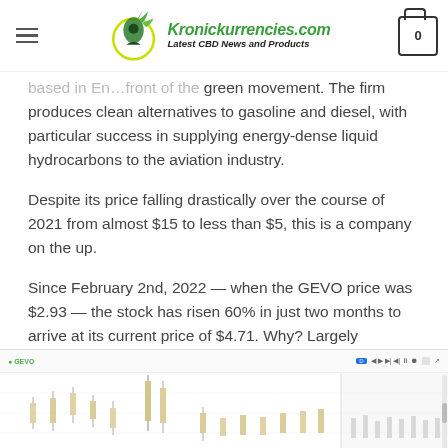Kronickurrencies.com — Latest CBD News and Products
based in En... front of the green movement. The firm produces clean alternatives to gasoline and diesel, with particular success in supplying energy-dense liquid hydrocarbons to the aviation industry.
Despite its price falling drastically over the course of 2021 from almost $15 to less than $5, this is a company on the up.
Since February 2nd, 2022 — when the GEVO price was $2.93 — the stock has risen 60% in just two months to arrive at its current price of $4.71. Why? Largely because of US President Joe Biden New Green Deal, which pledges backing for green energy companies like Gevo.
[Figure (continuous-plot): Stock price chart for GEVO showing candlestick or line chart data, with toolbar controls and a secondary panel on the right.]